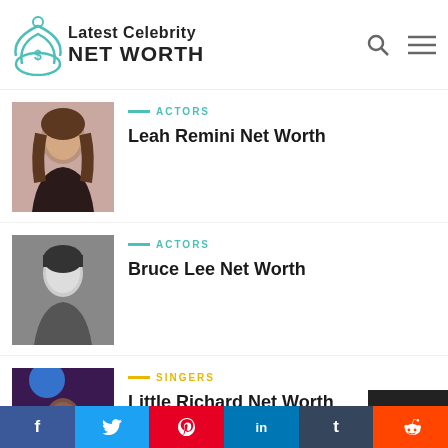Latest Celebrity NET WORTH
[Figure (photo): Leah Remini photo – woman with long wavy hair]
ACTORS
Leah Remini Net Worth
[Figure (photo): Bruce Lee photo – black and white portrait]
ACTORS
Bruce Lee Net Worth
[Figure (photo): Little Richard photo – performing with microphone]
SINGERS
Little Richard Net Worth
[Figure (photo): Bill Cosby photo – partial view]
ACTORS
Bill Cosby Net Worth
f  t  p  in  t  reddit